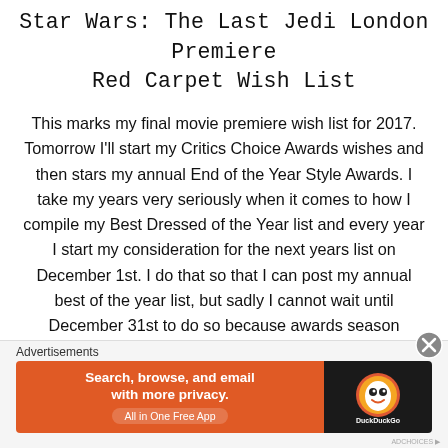Star Wars: The Last Jedi London Premiere Red Carpet Wish List
This marks my final movie premiere wish list for 2017. Tomorrow I'll start my Critics Choice Awards wishes and then stars my annual End of the Year Style Awards. I take my years very seriously when it comes to how I compile my Best Dressed of the Year list and every year I start my consideration for the next years list on December 1st. I do that so that I can post my annual best of the year list, but sadly I cannot wait until December 31st to do so because awards season always starts early. That means that the looks from the
Advertisements
[Figure (screenshot): DuckDuckGo advertisement banner: orange background with text 'Search, browse, and email with more privacy. All in One Free App' and DuckDuckGo logo on dark right panel]